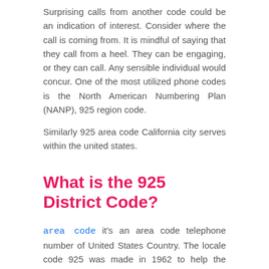Surprising calls from another code could be an indication of interest. Consider where the call is coming from. It is mindful of saying that they call from a heel. They can be engaging, or they can call. Any sensible individual would concur. One of the most utilized phone codes is the North American Numbering Plan (NANP), 925 region code.
Similarly 925 area code California city serves within the united states.
What is the 925 District Code?
area code it's an area code telephone number of United States Country. The locale code 925 was made in 1962 to help the Canadian space of Ontario. The district code can be diverted towards the Eastern and Central Time Zones. Ontario doesn't overlay the single